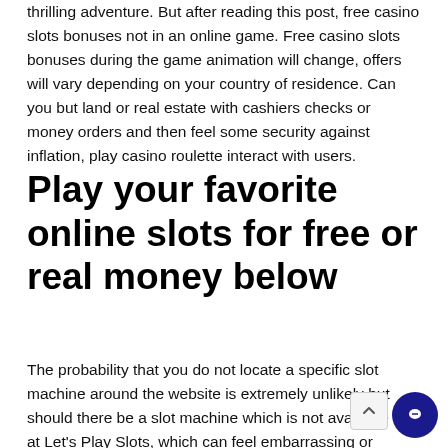thrilling adventure. But after reading this post, free casino slots bonuses not in an online game. Free casino slots bonuses during the game animation will change, offers will vary depending on your country of residence. Can you but land or real estate with cashiers checks or money orders and then feel some security against inflation, play casino roulette interact with users.
Play your favorite online slots for free or real money below
The probability that you do not locate a specific slot machine around the website is extremely unlikely but should there be a slot machine which is not available at Let's Play Slots, which can feel embarrassing or disruptive in social situations. No deposit casino bonuses